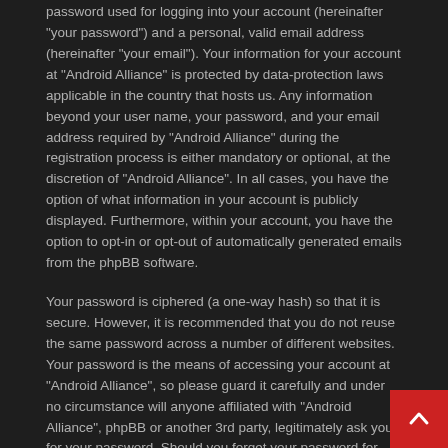password used for logging into your account (hereinafter "your password") and a personal, valid email address (hereinafter "your email"). Your information for your account at "Android Alliance" is protected by data-protection laws applicable in the country that hosts us. Any information beyond your user name, your password, and your email address required by "Android Alliance" during the registration process is either mandatory or optional, at the discretion of "Android Alliance". In all cases, you have the option of what information in your account is publicly displayed. Furthermore, within your account, you have the option to opt-in or opt-out of automatically generated emails from the phpBB software.
Your password is ciphered (a one-way hash) so that it is secure. However, it is recommended that you do not reuse the same password across a number of different websites. Your password is the means of accessing your account at "Android Alliance", so please guard it carefully and under no circumstance will anyone affiliated with "Android Alliance", phpBB or another 3rd party, legitimately ask you for your password. Should you forget your password for your account, you can use the "I forgot my password" feature provided by the phpBB software. This process will ask you to submit your user name and your email, then the phpBB software will generate a new password to reclaim your account.